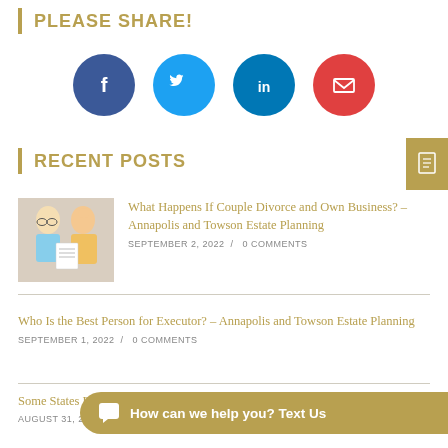PLEASE SHARE!
[Figure (illustration): Social media share buttons: Facebook (dark blue circle with f icon), Twitter (light blue circle with bird icon), LinkedIn (dark teal circle with in icon), Email (red circle with envelope icon)]
RECENT POSTS
[Figure (photo): Photo of a stressed couple looking at a document — woman with glasses and man holding his forehead]
What Happens If Couple Divorce and Own Business? – Annapolis and Towson Estate Planning
SEPTEMBER 2, 2022 / 0 COMMENTS
Who Is the Best Person for Executor? – Annapolis and Towson Estate Planning
SEPTEMBER 1, 2022 / 0 COMMENTS
Some St[ates Do Not Have Inheritance] Taxes – [Annapolis and Towson Estate Planning]
AUGUST 31, 2022 / 0 COMMENTS
How can we help you? Text Us